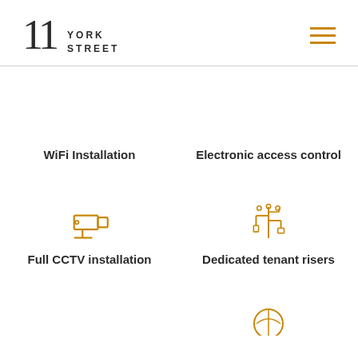11 YORK STREET
[Figure (infographic): WiFi Installation icon (not shown visible in top section)]
WiFi Installation
Electronic access control
[Figure (infographic): CCTV camera icon in orange outline style]
[Figure (infographic): Dedicated tenant risers icon - USB/connector style in orange outline]
Full CCTV installation
Dedicated tenant risers